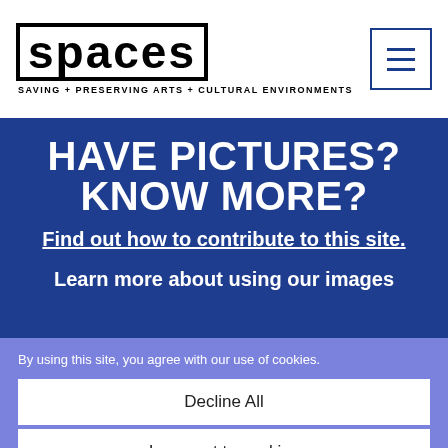SPACES — SAVING + PRESERVING ARTS + CULTURAL ENVIRONMENTS
HAVE PICTURES? KNOW MORE?
Find out how to contribute to this site.
Learn more about using our images
By using this site, you agree with our use of cookies.
Decline All
I consent to cookies
Want to know more?
Read our Cookie Policy